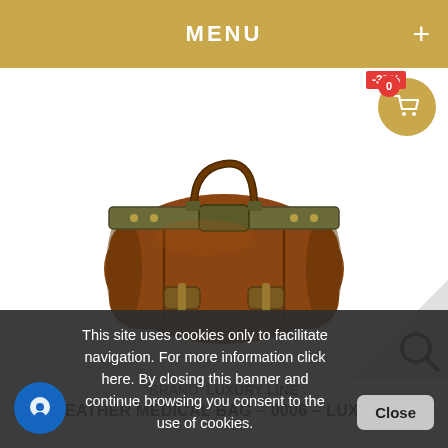MENU +
[Figure (photo): Brown leather vintage-style medical doctor bag with metal clasp frame, carry handle, and two buckle straps. Shown on white background.]
BRAND: LUXURY LINE
LEATHER MEDICAL BAG – 0006 – LUXURY
This site uses cookies only to facilitate navigation. For more information click here. By closing this banner and continue browsing you consent to the use of cookies.